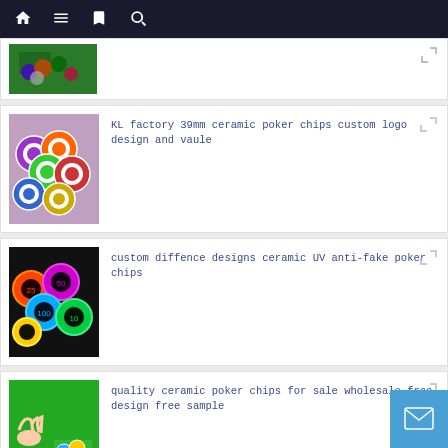Navigation bar with home, menu, bookmarks, search icons
[Figure (photo): Poker chips on green felt table - partially visible card]
[Figure (photo): Colorful 39mm ceramic poker chips with custom logos by KL factory]
KL factory 39mm ceramic poker chips custom logo design and vaule
[Figure (photo): Custom ceramic UV anti-fake poker chips with different designs on dark background]
custom diffence designs ceramic UV anti-fake poker chips
[Figure (photo): Quality ceramic poker chips on green felt with hand picking up a chip]
quality ceramic poker chips for sale wholesale free design free sample
[Figure (photo): Ceramic poker chips casino king and queen custom - partially visible]
ceramic poker chips casino king and queen cust...